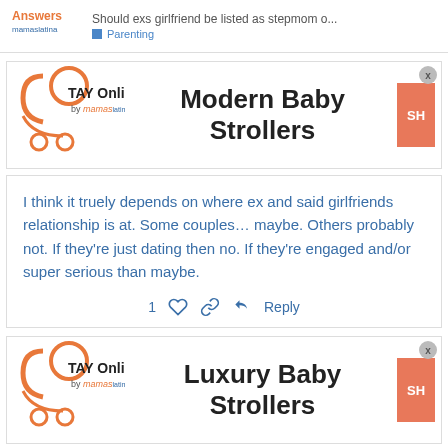Should exs girlfriend be listed as stepmom o... | Parenting
[Figure (advertisement): TAY Online by mamas advertisement for Modern Baby Strollers with orange SHOP button]
I think it truely depends on where ex and said girlfriends relationship is at. Some couples... maybe. Others probably not. If they're just dating then no. If they're engaged and/or super serious than maybe.
[Figure (advertisement): TAY Online by mamas advertisement for Luxury Baby Strollers with orange SHOP button]